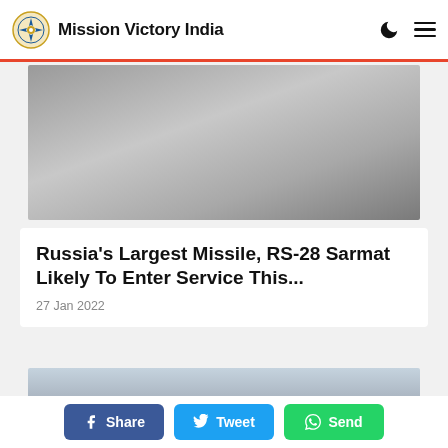Mission Victory India
[Figure (photo): Blurred grayscale image, appears to show military equipment or vehicle]
Russia's Largest Missile, RS-28 Sarmat Likely To Enter Service This...
27 Jan 2022
[Figure (photo): Blurred light blue-gray image, appears to show outdoor scene]
Share  Tweet  Send